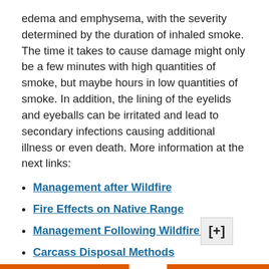edema and emphysema, with the severity determined by the duration of inhaled smoke. The time it takes to cause damage might only be a few minutes with high quantities of smoke, but maybe hours in low quantities of smoke. In addition, the lining of the eyelids and eyeballs can be irritated and lead to secondary infections causing additional illness or even death. More information at the next links:
Management after Wildfire
Fire Effects on Native Range
Management Following Wildfire KSU
Carcass Disposal Methods